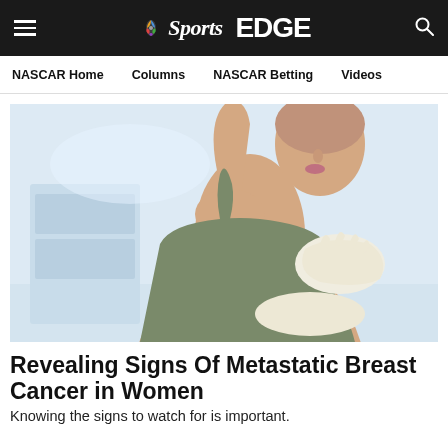NBC Sports EDGE — NASCAR Home | Columns | NASCAR Betting | Videos
[Figure (photo): Woman in olive/grey tank top with arm raised, a gloved hand examining her breast area — medical breast examination photo against a light blue background]
Revealing Signs Of Metastatic Breast Cancer in Women
Knowing the signs to watch for is important.